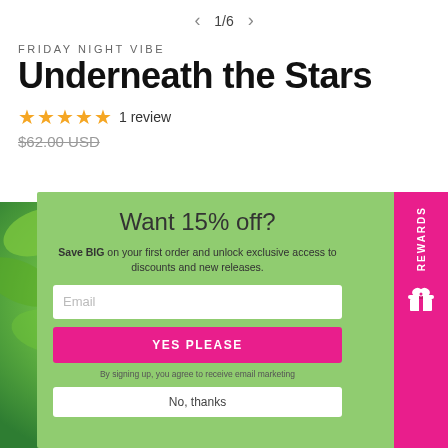1/6
FRIDAY NIGHT VIBE
Underneath the Stars
★★★★★ 1 review
$62.00 USD
[Figure (photo): Hand holding a 'Divine Energy' candle against a green leafy background]
Want 15% off?
Save BIG on your first order and unlock exclusive access to discounts and new releases.
Email
YES PLEASE
By signing up, you agree to receive email marketing
No, thanks
REWARDS